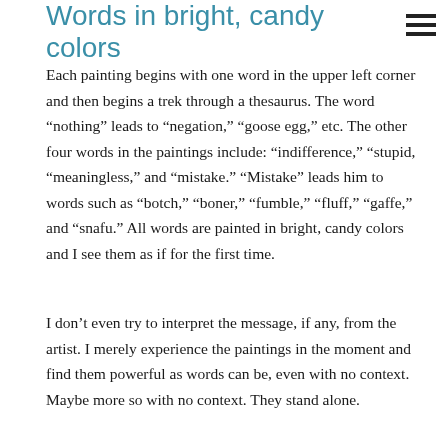Words in bright, candy colors
Each painting begins with one word in the upper left corner and then begins a trek through a thesaurus. The word “nothing” leads to “negation,” “goose egg,” etc. The other four words in the paintings include: “indifference,” “stupid, “meaningless,” and “mistake.” “Mistake” leads him to words such as “botch,” “boner,” “fumble,” “fluff,” “gaffe,” and “snafu.” All words are painted in bright, candy colors and I see them as if for the first time.
I don’t even try to interpret the message, if any, from the artist. I merely experience the paintings in the moment and find them powerful as words can be, even with no context. Maybe more so with no context. They stand alone.